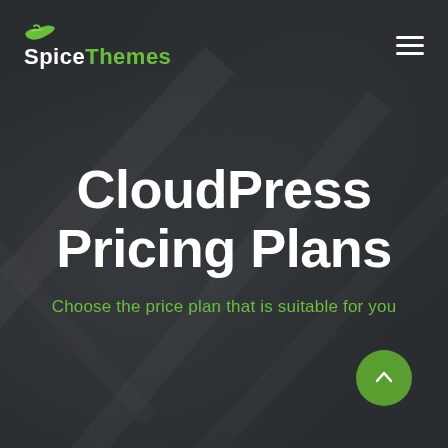[Figure (logo): SpiceThemes logo with green chili pepper icon above text 'SpiceThemes' where 'Spice' is white and 'Themes' is green]
CloudPress Pricing Plans
Choose the price plan that is suitable for you
[Figure (other): Green circular scroll-to-top button with white upward arrow in bottom right corner]